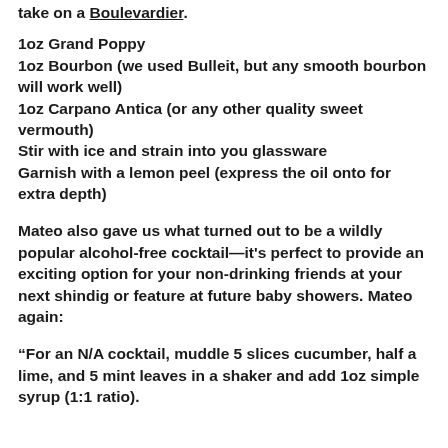take on a Boulevardier.
1oz Grand Poppy
1oz Bourbon (we used Bulleit, but any smooth bourbon will work well)
1oz Carpano Antica (or any other quality sweet vermouth)
Stir with ice and strain into you glassware
Garnish with a lemon peel (express the oil onto for extra depth)
Mateo also gave us what turned out to be a wildly popular alcohol-free cocktail—it's perfect to provide an exciting option for your non-drinking friends at your next shindig or feature at future baby showers. Mateo again:
“For an N/A cocktail, muddle 5 slices cucumber, half a lime, and 5 mint leaves in a shaker and add 1oz simple syrup (1:1 ratio).